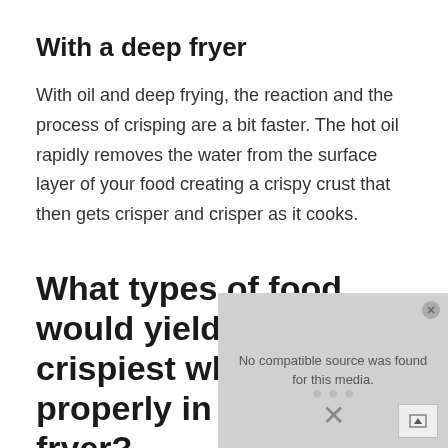With a deep fryer
With oil and deep frying, the reaction and the process of crisping are a bit faster. The hot oil rapidly removes the water from the surface layer of your food creating a crispy crust that then gets crisper and crisper as it cooks.
What types of food would yield the crispiest when cooked properly in an air fryer?
[Figure (other): Video media player overlay showing 'No compatible source was found for this media.' message with a close button, expand button with up arrow, dots, and an X mark on a gray background.]